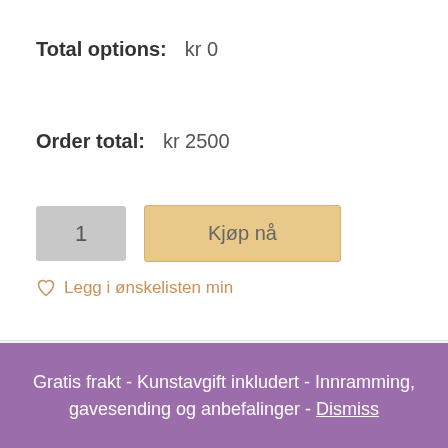Total options: kr 0
Order total: kr 2500
1
Kjøp nå
Legg i ønskelisten min
Privacy & Cookies: This site uses cookies. By continuing to use this website, you agree to their use.
To find out more, including how to control cookies, see here: Cookie Policy
Gratis frakt - Kunstavgift inkludert - Innramming, gavesending og anbefalinger - Dismiss